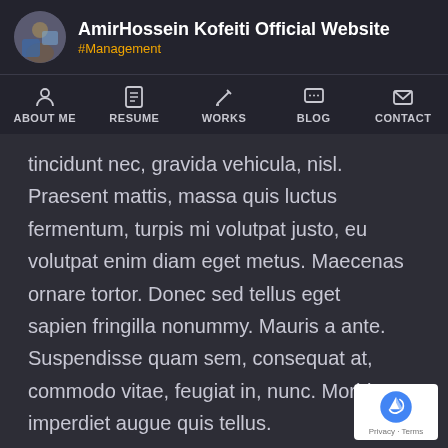AmirHossein Kofeiti Official Website #Management
ABOUT ME | RESUME | WORKS | BLOG | CONTACT
tincidunt nec, gravida vehicula, nisl. Praesent mattis, massa quis luctus fermentum, turpis mi volutpat justo, eu volutpat enim diam eget metus. Maecenas ornare tortor. Donec sed tellus eget sapien fringilla nonummy. Mauris a ante. Suspendisse quam sem, consequat at, commodo vitae, feugiat in, nunc. Morbi imperdiet augue quis tellus. Lorem ipsum dolor sit amet, emphasis consectetuer adipiscing